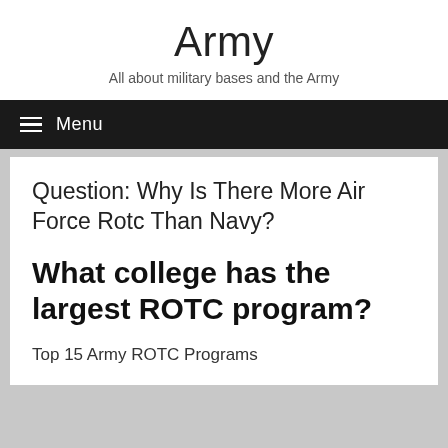Army
All about military bases and the Army
Menu
Question: Why Is There More Air Force Rotc Than Navy?
What college has the largest ROTC program?
Top 15 Army ROTC Programs